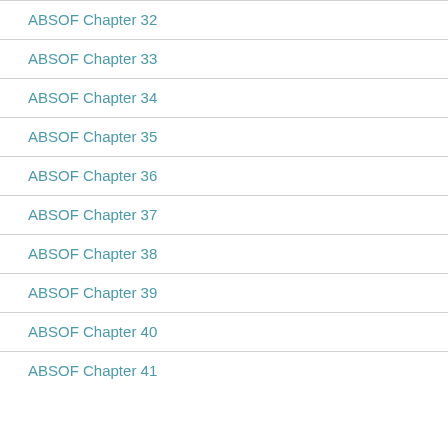ABSOF Chapter 32
ABSOF Chapter 33
ABSOF Chapter 34
ABSOF Chapter 35
ABSOF Chapter 36
ABSOF Chapter 37
ABSOF Chapter 38
ABSOF Chapter 39
ABSOF Chapter 40
ABSOF Chapter 41